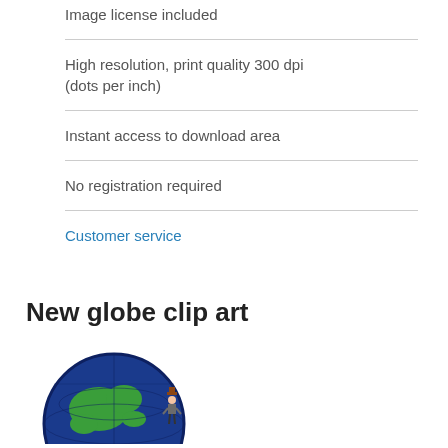Image license included
High resolution, print quality 300 dpi (dots per inch)
Instant access to download area
No registration required
Customer service
New globe clip art
[Figure (illustration): Globe clip art showing a blue and green Earth with a small figure standing on it]